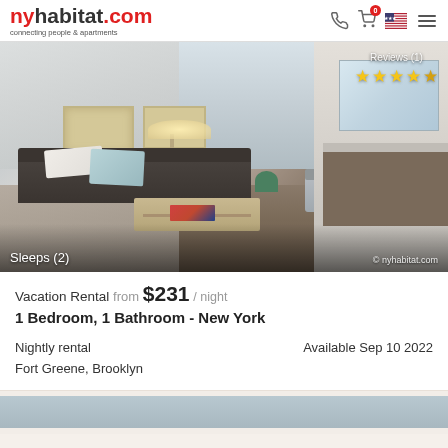nyhabitat.com - connecting people & apartments
[Figure (photo): Interior photo of a 1-bedroom apartment living room in Fort Greene, Brooklyn. Shows a dark sofa with white pillows, framed art on walls, a coffee table, armchair, and kitchen area in the background. Overlaid text shows 'Sleeps (2)' bottom-left and '© nyhabitat.com' bottom-right. Top-right shows 'Reviews (1)' with 5 yellow stars.]
Vacation Rental from $231 / night
1 Bedroom, 1 Bathroom - New York
Nightly rental
Fort Greene, Brooklyn
Available Sep 10 2022